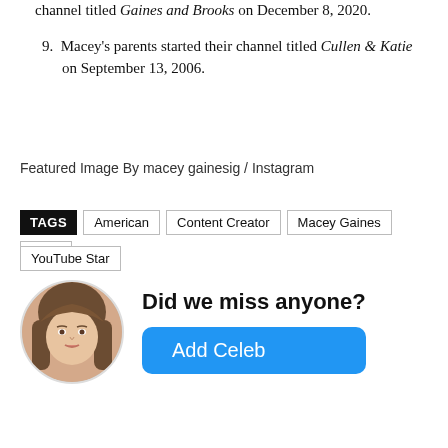channel titled Gaines and Brooks on December 8, 2020.
9. Macey's parents started their channel titled Cullen & Katie on September 13, 2006.
Featured Image By macey gainesig / Instagram
TAGS American Content Creator Macey Gaines Virgo YouTube Star
[Figure (photo): Circular avatar photo of a young woman with long brown hair]
Did we miss anyone? Add Celeb